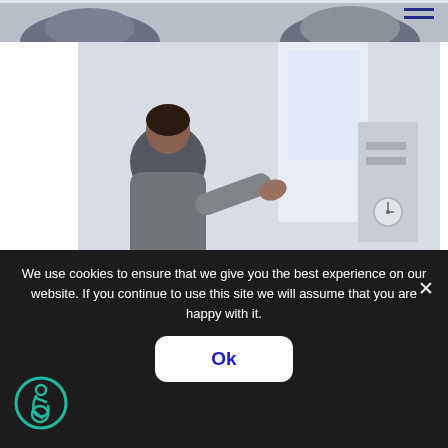[Figure (photo): Cropped top portion of a person sitting, partial view of torso and hands in an office/meeting setting]
[Figure (photo): A woman standing with her back to camera, gesturing with her hands while presenting to a group of 6 people seated in a circle in a bright, modern meeting room — a mental health or group therapy session at work]
Mental Health Awareness At Work
We use cookies to ensure that we give you the best experience on our website. If you continue to use this site we will assume that you are happy with it.